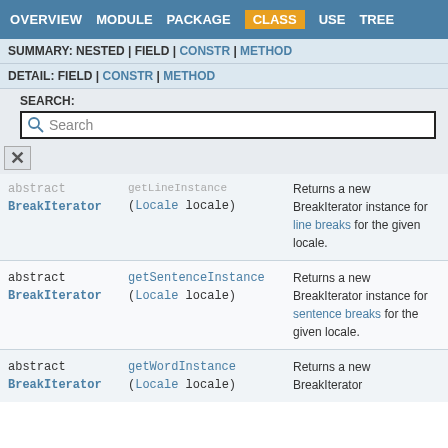OVERVIEW  MODULE  PACKAGE  CLASS  USE  TREE
SUMMARY: NESTED | FIELD | CONSTR | METHOD
DETAIL: FIELD | CONSTR | METHOD
SEARCH:
| Modifier and Type | Method | Description |
| --- | --- | --- |
| abstract BreakIterator | getLineInstance(Locale locale) | Returns a new BreakIterator instance for line breaks for the given locale. |
| abstract BreakIterator | getSentenceInstance(Locale locale) | Returns a new BreakIterator instance for sentence breaks for the given locale. |
| abstract BreakIterator | getWordInstance(Locale locale) | Returns a new BreakIterator instance... |